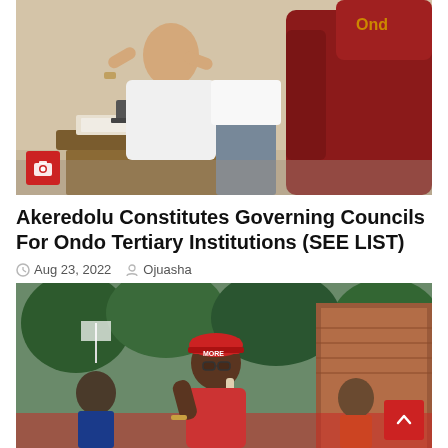[Figure (photo): Two men seated at a wooden table in an office setting; one in white clothing gesturing with hands, a red leather chair visible in the background. A camera icon badge is overlaid on the lower left.]
Akeredolu Constitutes Governing Councils For Ondo Tertiary Institutions (SEE LIST)
Aug 23, 2022  Ojuasha
[Figure (photo): A woman in red cap and glasses speaking into a microphone at an outdoor rally, trees and brick building in background. NEWS and ONDO tags overlaid on upper left. A red scroll-up button on lower right.]